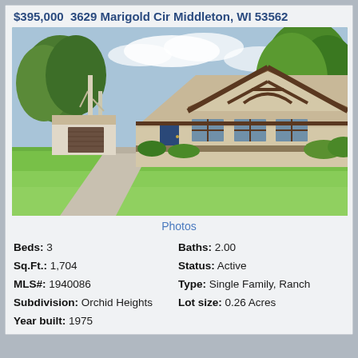$395,000  3629 Marigold Cir Middleton, WI 53562
[Figure (photo): Exterior photo of a single-family ranch home with Tudor-style gable, brown trim, green lawn, and large trees]
Photos
Beds: 3   Baths: 2.00
Sq.Ft.: 1,704   Status: Active
MLS#: 1940086   Type: Single Family, Ranch
Subdivision: Orchid Heights   Lot size: 0.26 Acres
Year built: 1975